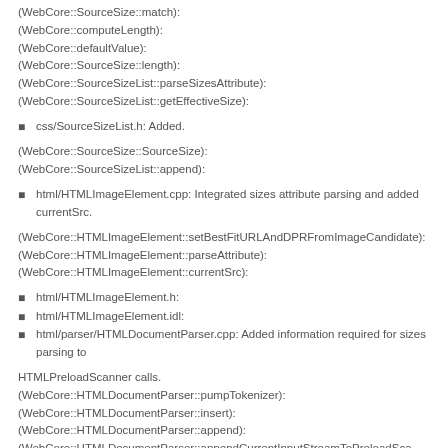(WebCore::SourceSize::match):
(WebCore::computeLength):
(WebCore::defaultValue):
(WebCore::SourceSize::length):
(WebCore::SourceSizeList::parseSizesAttribute):
(WebCore::SourceSizeList::getEffectiveSize):
css/SourceSizeList.h: Added.
(WebCore::SourceSize::SourceSize):
(WebCore::SourceSizeList::append):
html/HTMLImageElement.cpp: Integrated sizes attribute parsing and added currentSrc.
(WebCore::HTMLImageElement::setBestFitURLAndDPRFromImageCandidate):
(WebCore::HTMLImageElement::parseAttribute):
(WebCore::HTMLImageElement::currentSrc):
html/HTMLImageElement.h:
html/HTMLImageElement.idl:
html/parser/HTMLDocumentParser.cpp: Added information required for sizes parsing to
HTMLPreloadScanner calls.
(WebCore::HTMLDocumentParser::pumpTokenizer):
(WebCore::HTMLDocumentParser::insert):
(WebCore::HTMLDocumentParser::append):
(WebCore::HTMLDocumentParser::appendCurrentInputStreamToPreloadSca...